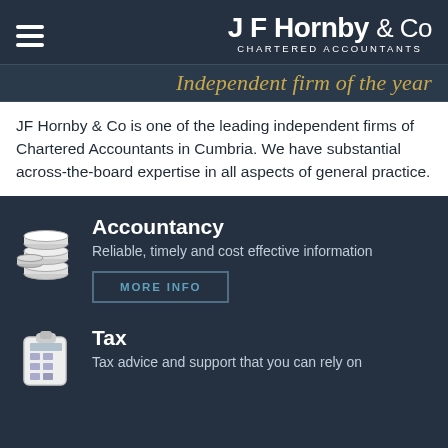JF Hornby & Co CHARTERED ACCOUNTANTS
Independent firm of the year
JF Hornby & Co is one of the leading independent firms of Chartered Accountants in Cumbria. We have substantial across-the-board expertise in all aspects of general practice.
Accountancy
Reliable, timely and cost effective information
MORE INFO
Tax
Tax advice and support that you can rely on